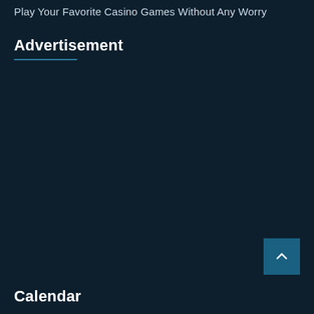Play Your Favorite Casino Games Without Any Worry
Advertisement
Calendar